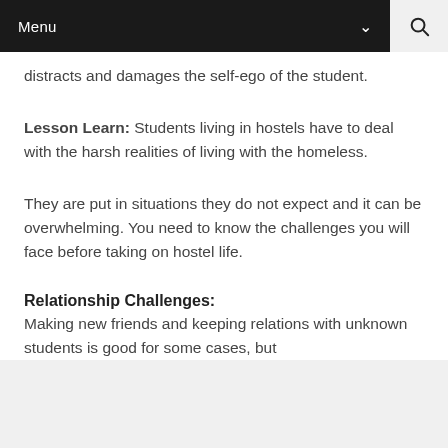Menu
distracts and damages the self-ego of the student.
Lesson Learn: Students living in hostels have to deal with the harsh realities of living with the homeless.
They are put in situations they do not expect and it can be overwhelming. You need to know the challenges you will face before taking on hostel life.
Relationship Challenges:
Making new friends and keeping relations with unknown students is good for some cases, but